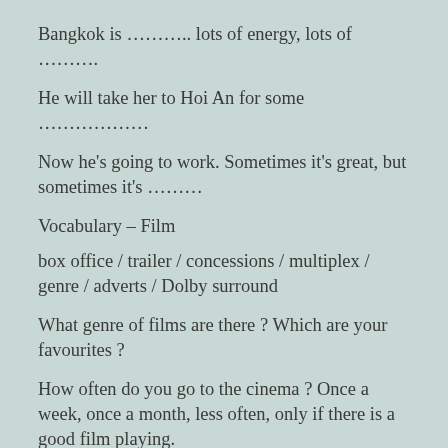Bangkok is ……….. lots of energy, lots of ………..
He will take her to Hoi An for some ………………
Now he's going to work. Sometimes it's great, but sometimes it's ………
Vocabulary – Film
box office / trailer / concessions / multiplex / genre / adverts / Dolby surround
What genre of films are there ? Which are your favourites ?
How often do you go to the cinema ? Once a week, once a month, less often, only if there is a good film playing.